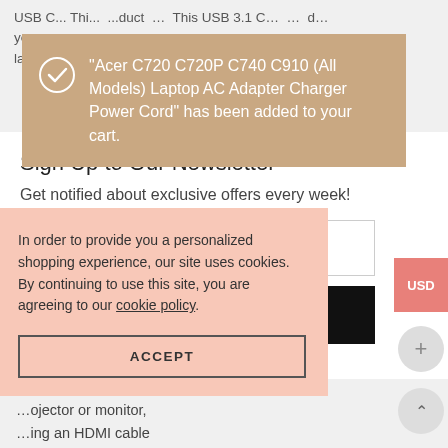USB C... This product... This USB 3.1 C... laptop...
[Figure (screenshot): Toast notification: checkmark icon with text 'Acer C720 C720P C740 C910 (All Models) Laptop AC Adapter Charger Power Cord" has been added to your cart.']
Sign Up to Our Newsletter
Get notified about exclusive offers every week!
Your E-Mail
[Figure (screenshot): Cookie consent banner: text about personalized shopping experience and cookie policy, with ACCEPT button]
In order to provide you a personalized shopping experience, our site uses cookies. By continuing to use this site, you are agreeing to our cookie policy.
ACCEPT
...ffers.
Ultra High Definition ...ojector or monitor, ...ing an HDMI cable